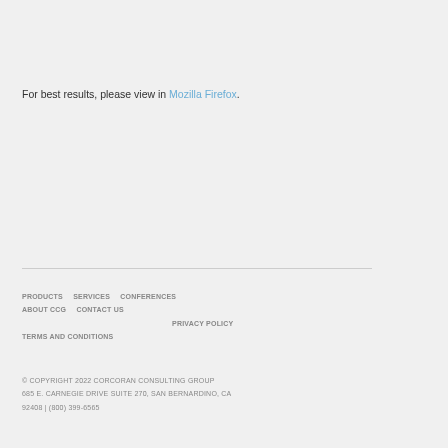For best results, please view in Mozilla Firefox.
PRODUCTS   SERVICES   CONFERENCES
ABOUT CCG   CONTACT US
PRIVACY POLICY
TERMS AND CONDITIONS

© COPYRIGHT 2022 CORCORAN CONSULTING GROUP
685 E. CARNEGIE DRIVE SUITE 270, SAN BERNARDINO, CA 92408 | (800) 399-6565